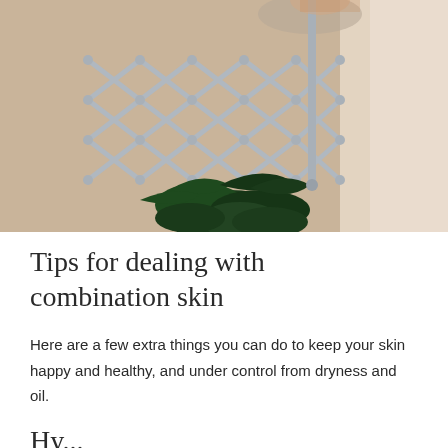[Figure (photo): A person reflected in a round mirror with an accordion/scissor-arm extendable mirror mount against a warm beige wall. Dark green leafy plants visible at the bottom. A blurred light-colored surface in the foreground right.]
Tips for dealing with combination skin
Here are a few extra things you can do to keep your skin happy and healthy, and under control from dryness and oil.
Hy...